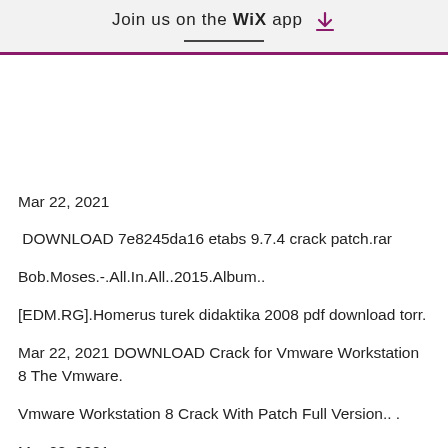Join us on the WiX app ↓
Mar 22, 2021
 DOWNLOAD 7e8245da16 etabs 9.7.4 crack patch.rar
Bob.Moses.-.All.In.All..2015.Album..
[EDM.RG].Homerus turek didaktika 2008 pdf download torr.
Mar 22, 2021 DOWNLOAD Crack for Vmware Workstation 8 The Vmware.
Vmware Workstation 8 Crack With Patch Full Version.. .
Mar 22, 2021
 DOWNLOAD 7e8245da16 etabs 9.7.4 crack patch.rar
Bob.Moses.-.All.In.All..2015.Album..